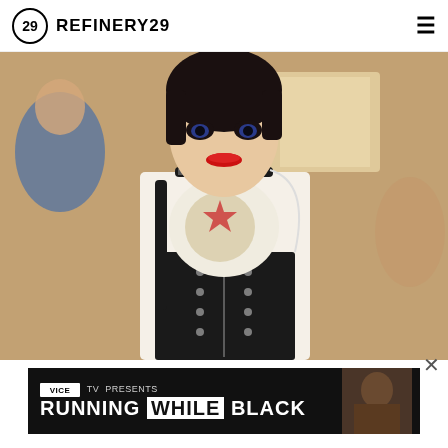REFINERY29
[Figure (photo): A young woman with dark short hair, heavy eye makeup, and red lipstick wearing a white graphic t-shirt, black lace-up corset, and a studded choker necklace, carrying a black backpack, walking through a school hallway with blurred students in the background.]
[Figure (screenshot): VICE TV advertisement banner: 'VICE TV PRESENTS RUNNING WHILE BLACK' with a person visible on the right side of the banner.]
I'm ... ell